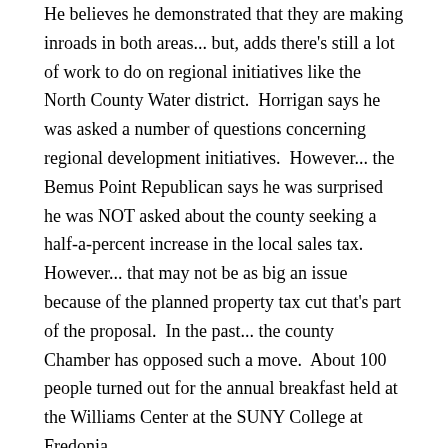He believes he demonstrated that they are making inroads in both areas... but, adds there's still a lot of work to do on regional initiatives like the North County Water district.  Horrigan says he was asked a number of questions concerning regional development initiatives.  However... the Bemus Point Republican says he was surprised he was NOT asked about the county seeking a half-a-percent increase in the local sales tax.  However... that may not be as big an issue because of the planned property tax cut that's part of the proposal.  In the past... the county Chamber has opposed such a move.  About 100 people turned out for the annual breakfast held at the Williams Center at the SUNY College at Fredonia.
A city man is being held in the county jail without bail after he was pulled over during a traffic stop on Jamestown's southside Thursday afternoon... and, the investigation allegedly led to a Methaphetime Lab in his house.  City Police Captain Bob Samuelson says members of the Jamestown Metro Drug Task Force, and State Police C-NET Team, stopped a car driven by 35 year-old Aaron Phillips just after 12:30 PM Thursday on a